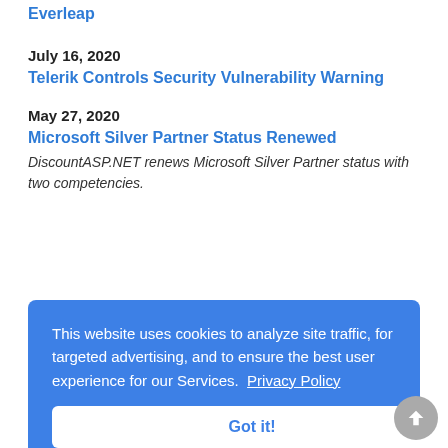Everleap
July 16, 2020
Telerik Controls Security Vulnerability Warning
May 27, 2020
Microsoft Silver Partner Status Renewed
DiscountASP.NET renews Microsoft Silver Partner status with two competencies.
.NET Core 3.0.3 and .NET Core 3.1.3 is now Available
March 20, 2020
Covid 19 and DiscountASP.NET
2019
This website uses cookies to analyze site traffic, for targeted advertising, and to ensure the best user experience for our Services.  Privacy Policy
Got it!